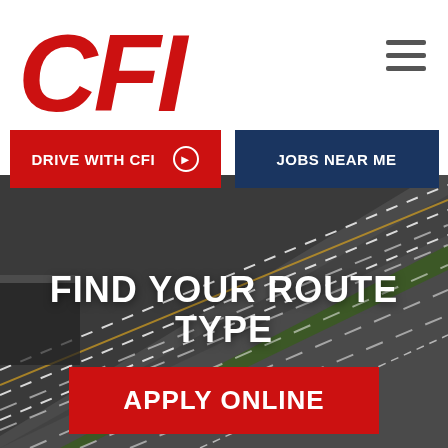[Figure (logo): CFI logo in bold red italic text]
[Figure (other): Hamburger menu icon with three horizontal dark gray lines]
DRIVE WITH CFI ❯
JOBS NEAR ME
[Figure (photo): Aerial view of a multi-lane highway with vehicles including a yellow taxi, green median, daytime]
FIND YOUR ROUTE TYPE
APPLY ONLINE